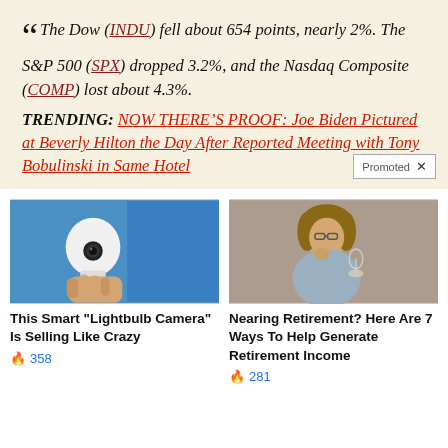“ The Dow (INDU) fell about 654 points, nearly 2%. The S&P 500 (SPX) dropped 3.2%, and the Nasdaq Composite (COMP) lost about 4.3%.
TRENDING: NOW THERE’S PROOF: Joe Biden Pictured at Beverly Hilton the Day After Reported Meeting with Tony Bobulinski in Same Hotel
[Figure (photo): Hand holding a smart lightbulb camera device against blue background]
This Smart "Lightbulb Camera" Is Selling Like Crazy 🔥 358
[Figure (photo): Woman with glasses looking thoughtful, sitting at a table with a glass and laptop]
Nearing Retirement? Here Are 7 Ways To Help Generate Retirement Income 🔥 281